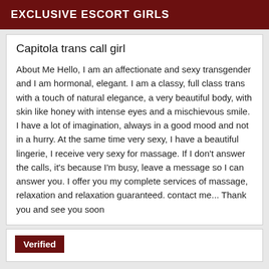EXCLUSIVE ESCORT GIRLS
Capitola trans call girl
About Me Hello, I am an affectionate and sexy transgender and I am hormonal, elegant. I am a classy, full class trans with a touch of natural elegance, a very beautiful body, with skin like honey with intense eyes and a mischievous smile. I have a lot of imagination, always in a good mood and not in a hurry. At the same time very sexy, I have a beautiful lingerie, I receive very sexy for massage. If I don't answer the calls, it's because I'm busy, leave a message so I can answer you. I offer you my complete services of massage, relaxation and relaxation guaranteed. contact me... Thank you and see you soon
Verified